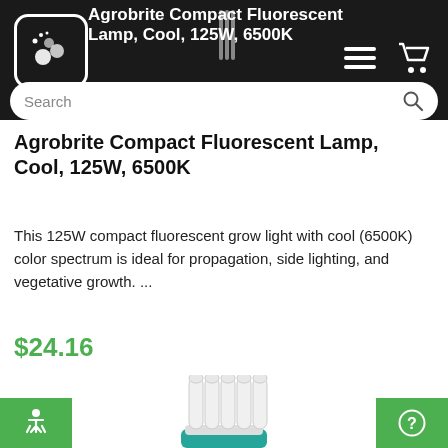Agrobrite Compact Fluorescent Lamp, Cool, 125W, 6500K
Agrobrite Compact Fluorescent Lamp, Cool, 125W, 6500K
This 125W compact fluorescent grow light with cool (6500K) color spectrum is ideal for propagation, side lighting, and vegetative growth. ...
$24.16
[Figure (photo): CFL compact fluorescent lamp bulb, white, with teal/green base, multiple spiral tubes, shown vertically]